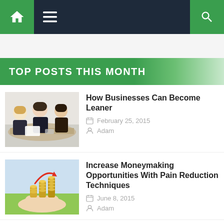[Figure (screenshot): Website navigation bar with home icon, hamburger menu, and search icon on dark navy background with green accent buttons]
TOP POSTS THIS MONTH
How Businesses Can Become Leaner
February 25, 2015
Adam
Increase Moneymaking Opportunities With Pain Reduction Techniques
June 8, 2015
Adam
Tips For Creating a Money Saving Plan